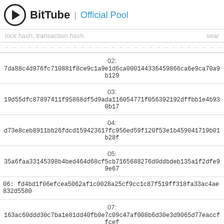BitTube | Official Pool
lock hash, transaction hash  sear
02: 7da88c4d976fc710881f8ce9c1a9e1d6ca000144336459866ca6e9ca70a9b129
03: 19d55dfc87897411f95868df5d9ada116054771f056392192dffbb1e4b930b17
04: d73e8ceb8911bb26fdcd159423617fc956ed59f120f53e1b459041719b01b28f
05: 35a6faa33145398b4bed464d68cf5cb7165688276d0ddbdeb135a1f2dfe99e67
06: fd4bd1f06efcea5062af1c0028a25cf9cc1c87f519ff318fa33ac4ae832d5580
07: 163ac60ddd30c7ba1e81dd40fb0e7c09c47af008b6d30e3d9065d77eaccffcef
08: 528350bb440ed1f446fb9c6bda43f79118fb64603bd96c1a9d9e105a6496e546
09: 1bb570a90a06f9657357ea9b612eda25c70c67dd250bb1a538cd78bf0b03149d